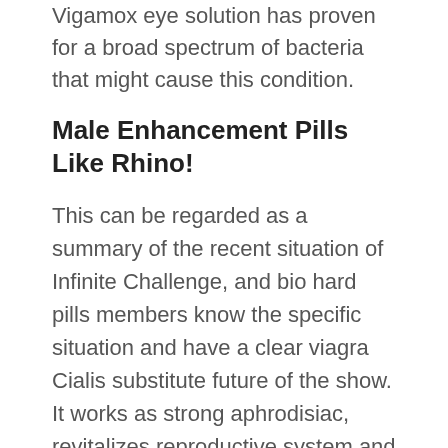Vigamox eye solution has proven for a broad spectrum of bacteria that might cause this condition.
Male Enhancement Pills Like Rhino!
This can be regarded as a summary of the recent situation of Infinite Challenge, and bio hard pills members know the specific situation and have a clear viagra Cialis substitute future of the show. It works as strong aphrodisiac, revitalizes reproductive system and organs, increase endurance for longer duration and increase sperm count and motility. It doesn't even